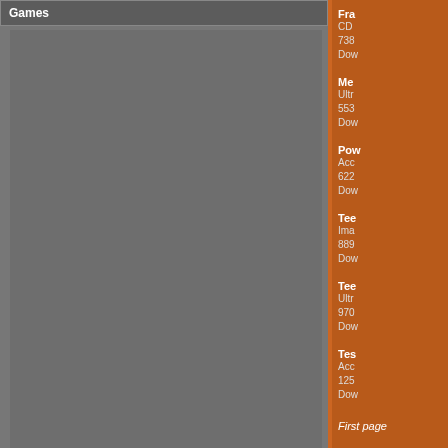Games
[Figure (screenshot): Gray preview area for game screenshot, Power at Sea © 1987 Accolade]
Power at Sea
© 1987 Accolade
« play/stop »
Production: Distinctive Software
Design: Don Mattrick
Design: Hanno Lemke
Design: Jeff Sember
Design: Kevin Pickell
Programming: Don Mattrick
Programming: Hanno Lemke
Programming: Jeff Sember
Programming: Kevin Pickell
Graphics: John Boechler
Graphics: Tony Lee
Music: Eric Pauker
Music: Kris Hatlelid
Music: Patrick Burns
Fra
CD
738
Dow

Me
Ultr
553
Dow

Pow
Acc
622
Dow

Tee
Ima
889
Dow

Tee
Ultr
970
Dow

Tes
Acc
125
Dow
First page